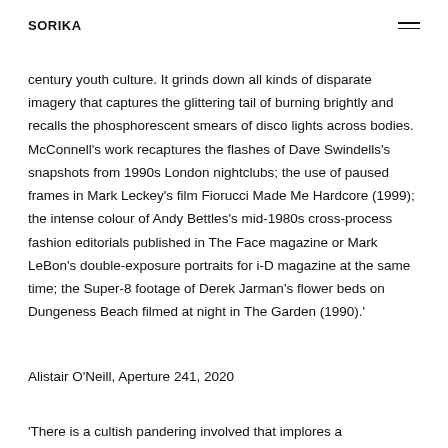SORIKA
century youth culture. It grinds down all kinds of disparate imagery that captures the glittering tail of burning brightly and recalls the phosphorescent smears of disco lights across bodies. McConnell’s work recaptures the flashes of Dave Swindells’s snapshots from 1990s London nightclubs; the use of paused frames in Mark Leckey’s film Fiorucci Made Me Hardcore (1999); the intense colour of Andy Bettles’s mid-1980s cross-process fashion editorials published in The Face magazine or Mark LeBon’s double-exposure portraits for i-D magazine at the same time; the Super-8 footage of Derek Jarman’s flower beds on Dungeness Beach filmed at night in The Garden (1990).’
Alistair O’Neill, Aperture 241, 2020
‘There is a cultish pandering involved that implores a